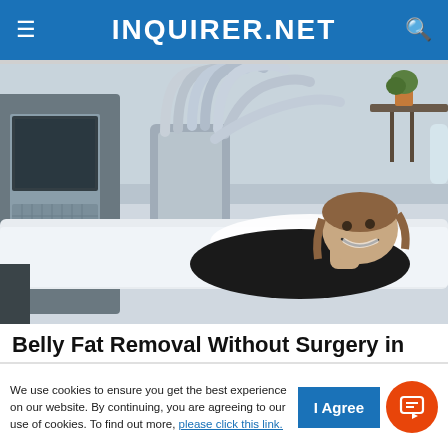INQUIRER.NET
[Figure (photo): Woman lying on a treatment bed smiling, with multiple gray hose/tube attachments from a medical aesthetic device connected to her body, in a clinical setting with plants and equipment visible in the background.]
Belly Fat Removal Without Surgery in
We use cookies to ensure you get the best experience on our website. By continuing, you are agreeing to our use of cookies. To find out more, please click this link.